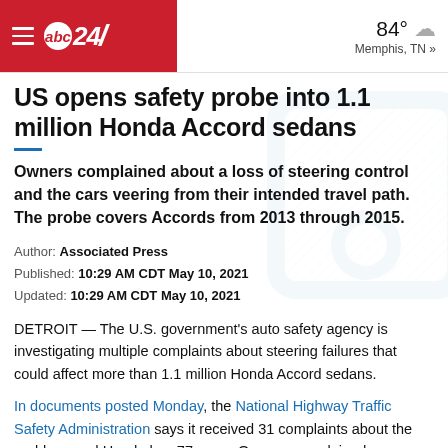abc24 — 84° Memphis, TN »
US opens safety probe into 1.1 million Honda Accord sedans
Owners complained about a loss of steering control and the cars veering from their intended travel path. The probe covers Accords from 2013 through 2015.
Author: Associated Press
Published: 10:29 AM CDT May 10, 2021
Updated: 10:29 AM CDT May 10, 2021
DETROIT — The U.S. government's auto safety agency is investigating multiple complaints about steering failures that could affect more than 1.1 million Honda Accord sedans.
In documents posted Monday, the National Highway Traffic Safety Administration says it received 31 complaints about the problem, and Honda has 77 more. Owners complained